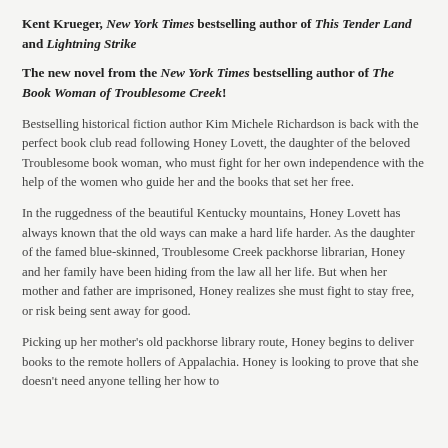Kent Krueger, New York Times bestselling author of This Tender Land and Lightning Strike
The new novel from the New York Times bestselling author of The Book Woman of Troublesome Creek!
Bestselling historical fiction author Kim Michele Richardson is back with the perfect book club read following Honey Lovett, the daughter of the beloved Troublesome book woman, who must fight for her own independence with the help of the women who guide her and the books that set her free.
In the ruggedness of the beautiful Kentucky mountains, Honey Lovett has always known that the old ways can make a hard life harder. As the daughter of the famed blue-skinned, Troublesome Creek packhorse librarian, Honey and her family have been hiding from the law all her life. But when her mother and father are imprisoned, Honey realizes she must fight to stay free, or risk being sent away for good.
Picking up her mother's old packhorse library route, Honey begins to deliver books to the remote hollers of Appalachia. Honey is looking to prove that she doesn't need anyone telling her how to